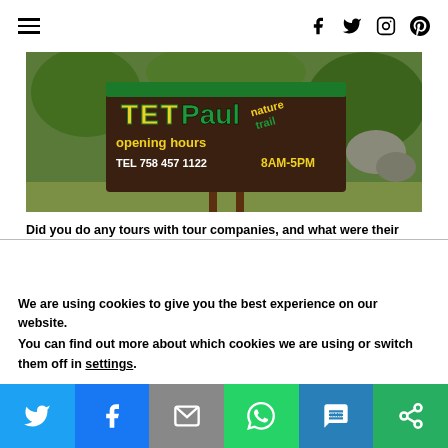Navigation menu and social icons (Facebook, Twitter, Instagram, Pinterest)
[Figure (photo): Sign for Tet Paul Nature Trail with opening hours: Tel 758 457 1122, 8AM-5PM, surrounded by tropical greenery]
Did you do any tours with tour companies, and what were their rates like?
No, we did not do any tour outside of the Tet Paul Nature Trail.
How would you describe the food on the island?
I thought the food on the island was wonderful
We are using cookies to give you the best experience on our website.
You can find out more about which cookies we are using or switch them off in settings.
Share bar: Twitter, Facebook, Email, WhatsApp, SMS, More